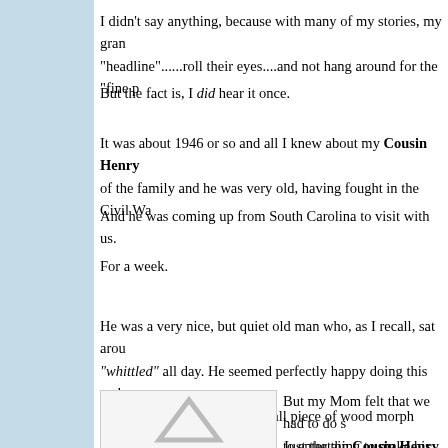I didn't say anything, because with many of my stories, my gran... "headline".....roll their eyes....and not hang around for the "fine p...
But the fact is, I did hear it once.
It was about 1946 or so and all I knew about my Cousin Henry ... of the family and he was very old, having fought in the Civil Wa...
And he was coming up from South Carolina to visit with us.
For a week.
He was a very nice, but quiet old man who, as I recall, sat arou... "whittled" all day. He seemed perfectly happy doing this and ne... was fascinated watching a small piece of wood morph into.....so... than a small scrap of wood. To this day, whittling is known as "t...
[Figure (illustration): A triangular arrow/logo shape in light gray on white background]
But my Mom felt that we had to do s... to entertain Cousin Henry. She was... had been answered when she saw i... that the ICE CAPADES were in town...
Just the thing to make his visit mem...